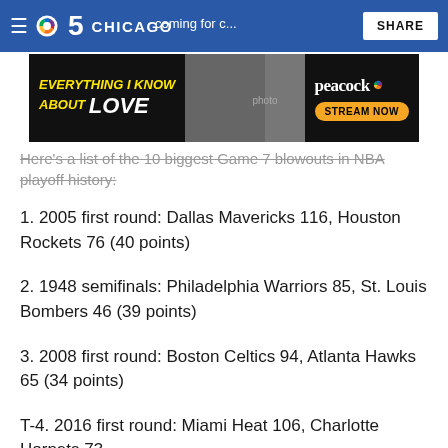NBC 5 Chicago
[Figure (photo): Peacock ad banner: 'Everything I Know About Love' - Stream Now on Peacock]
Here's a list of the 10 biggest Game 7 blowouts in NBA playoff history:
1. 2005 first round: Dallas Mavericks 116, Houston Rockets 76 (40 points)
2. 1948 semifinals: Philadelphia Warriors 85, St. Louis Bombers 46 (39 points)
3. 2008 first round: Boston Celtics 94, Atlanta Hawks 65 (34 points)
T-4. 2016 first round: Miami Heat 106, Charlotte Hornets 73